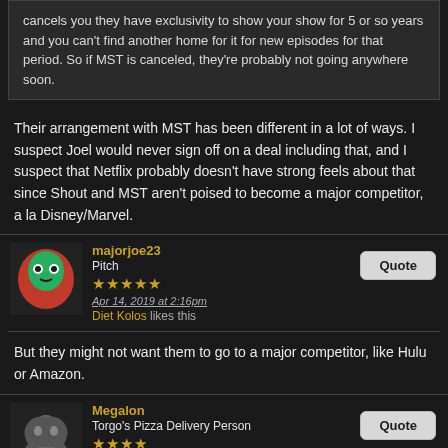cancels you they have exclusivity to show your show for 5 or so years and you can't find another home for it for new episodes for that period. So if MST is canceled, they're probably not going anywhere soon.
Their arrangement with MST has been different in a lot of ways. I suspect Joel would never sign off on a deal including that, and I suspect that Netflix probably doesn't have strong feels about that since Shout and MST aren't poised to become a major competitor, a la Disney/Marvel.
majorjoe23
Pitch
★★★★★
Apr 14, 2019 at 2:16pm
Diet Kolos likes this
But they might not want them to go to a major competitor, like Hulu or Amazon.
Megalon
Torgo's Pizza Delivery Person
★★★★
Apr 14, 2019 at 9:13pm